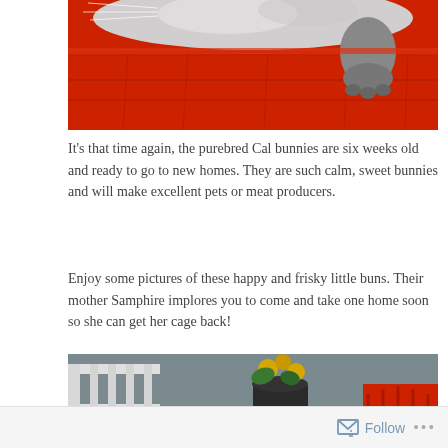[Figure (photo): Close-up of a grey rabbit sitting on or hanging over the edge of a red wooden surface, showing its white-grey fur body and grey paw.]
It's that time again, the purebred Cal bunnies are six weeks old and ready to go to new homes. They are such calm, sweet bunnies and will make excellent pets or meat producers.
Enjoy some pictures of these happy and frisky little buns. Their mother Samphire implores you to come and take one home soon so she can get her cage back!
[Figure (photo): A rabbit with large ears seen from behind, sitting in an outdoor patio area with white railings, potted plants including yellow flowers, and a red chair visible.]
Follow